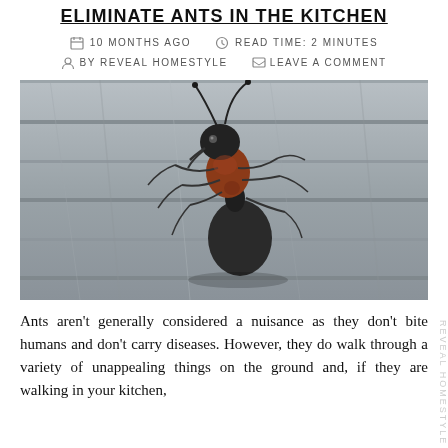Eliminate Ants in the Kitchen
10 MONTHS AGO   READ TIME: 2 MINUTES
BY REVEAL HOMESTYLE   LEAVE A COMMENT
[Figure (photo): Close-up macro photograph of a large red and black ant (likely a carpenter ant) on weathered grey wood planks, viewed from above at an angle, with antennae raised and legs visible.]
Ants aren't generally considered a nuisance as they don't bite humans and don't carry diseases. However, they do walk through a variety of unappealing things on the ground and, if they are walking in your kitchen,